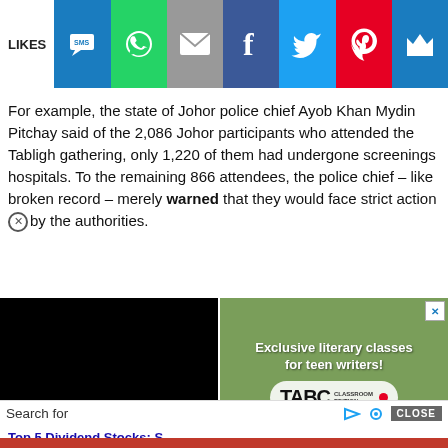[Figure (infographic): Social sharing bar with LIKES label and icons: SMS (blue), WhatsApp (green), Email (grey), Facebook (dark blue), Twitter (light blue), Pinterest (red), Crown (blue)]
For example, the state of Johor police chief Ayob Khan Mydin Pitchay said of the 2,086 Johor participants who attended the Tabligh gathering, only 1,220 of them had undergone screenings hospitals. To the remaining 866 attendees, the police chief – like broken record – merely warned that they would face strict action by the authorities.
[Figure (other): Black video player block]
[Figure (infographic): TABC Classroom Edition advertisement with text 'Exclusive literary classes for teen writers!' and logo on green background]
Search for
[Figure (infographic): Macy's advertisement - KISS BORING LIPS GOODBYE with SHOP NOW button on red background]